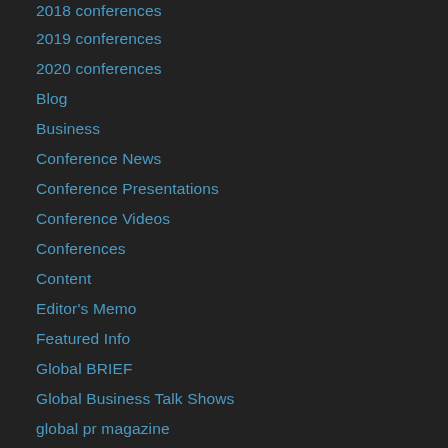2018 conferences
2019 conferences
2020 conferences
Blog
Business
Conference News
Conference Presentations
Conference Videos
Conferences
Content
Editor's Memo
Featured Info
Global BRIEF
Global Business Talk Shows
global pr magazine
Global Press Club
Global Talent Management